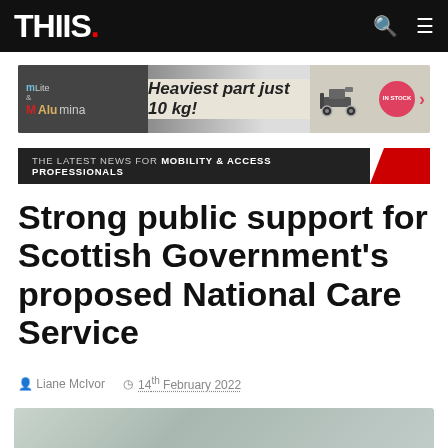THIIS.
[Figure (screenshot): Advertisement banner for mLite & Alumina mobility scooters. Text reads: Heaviest part just 10 kg! with scooter images, IN STOCK badge and arrow.]
THE LATEST NEWS FOR MOBILITY & ACCESS PROFESSIONALS
Strong public support for Scottish Government's proposed National Care Service
Liane McIvor   14th February 2022
[Figure (photo): Partial photo at bottom showing two people, suggesting a care or support context.]